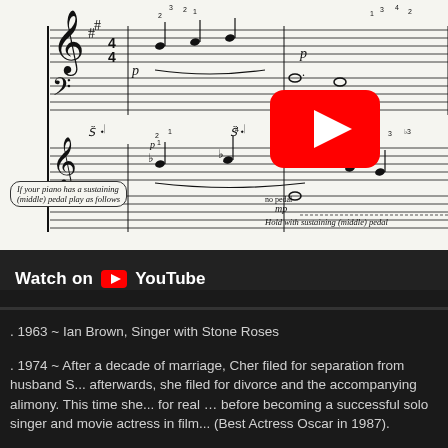[Figure (screenshot): YouTube embedded video showing sheet music (piano score) with a red YouTube play button overlay and 'Watch on YouTube' bar at the bottom of the video frame.]
. 1963 ~ Ian Brown, Singer with Stone Roses
. 1974 ~ After a decade of marriage, Cher filed for separation from husband S... afterwards, she filed for divorce and the accompanying alimony. This time she... for real … before becoming a successful solo singer and movie actress in film... (Best Actress Oscar in 1987).
. 1975 ~ Brian (Thomas) Littrell, Singer with Backstreet Boys
. 1977 ~"My Fair Lady" closed at St James Theater in New York City after 384...